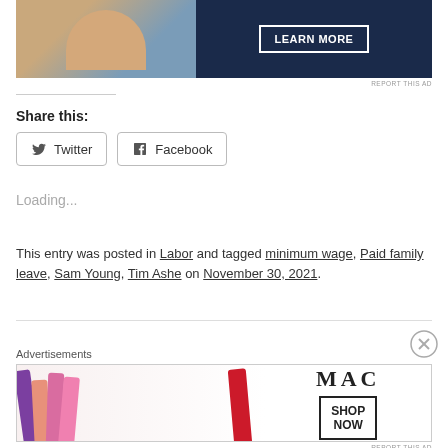[Figure (screenshot): Advertisement banner with photo of hands and dark blue panel with LEARN MORE button]
REPORT THIS AD
Share this:
Twitter
Facebook
Loading...
This entry was posted in Labor and tagged minimum wage, Paid family leave, Sam Young, Tim Ashe on November 30, 2021.
[Figure (screenshot): MAC cosmetics advertisement showing colorful lipsticks with SHOP NOW button]
Advertisements
REPORT THIS AD